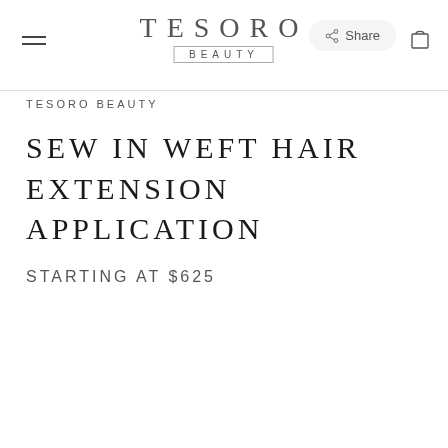[Figure (logo): Tesoro Beauty logo with large spaced letters and 'BEAUTY' in a bordered box]
TESORO BEAUTY
SEW IN WEFT HAIR EXTENSION APPLICATION
STARTING AT $625